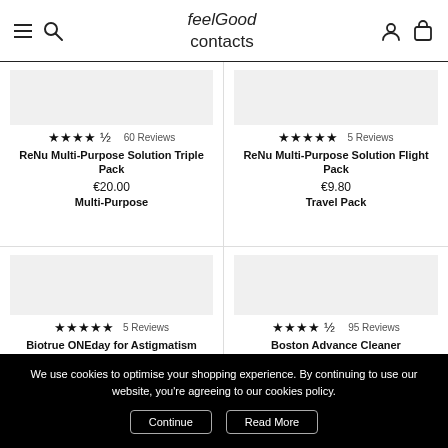FeelGood contacts
★★★★½ 60 Reviews
ReNu Multi-Purpose Solution Triple Pack
€20.00
Multi-Purpose
★★★★★ 5 Reviews
ReNu Multi-Purpose Solution Flight Pack
€9.80
Travel Pack
★★★★★ 5 Reviews
Biotrue ONEday for Astigmatism
€28.95
★★★★½ 95 Reviews
Boston Advance Cleaner
€11.40
We use cookies to optimise your shopping experience. By continuing to use our website, you're agreeing to our cookies policy.